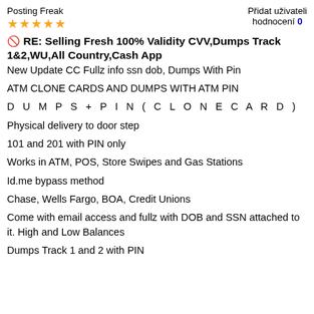Posting Freak ★★★★★  Přidat uživateli hodnocení 0
🚫 RE: Selling Fresh 100% Validity CVV,Dumps Track 1&2,WU,All Country,Cash App
New Update CC Fullz info ssn dob, Dumps With Pin
ATM CLONE CARDS AND DUMPS WITH ATM PIN
D U M P S + P I N ( C L O N E C A R D )
Physical delivery to door step
101 and 201 with PIN only
Works in ATM, POS, Store Swipes and Gas Stations
Id.me bypass method
Chase, Wells Fargo, BOA, Credit Unions
Come with email access and fullz with DOB and SSN attached to it. High and Low Balances
Dumps Track 1 and 2 with PIN